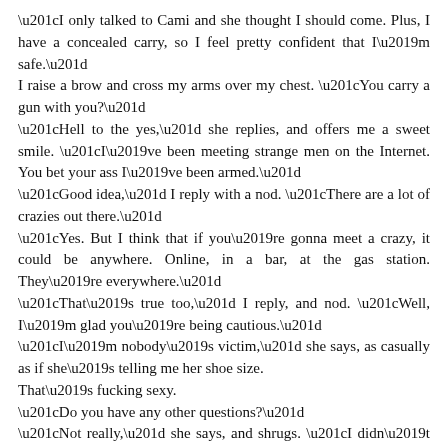“I only talked to Cami and she thought I should come. Plus, I have a concealed carry, so I feel pretty confident that I’m safe.”
I raise a brow and cross my arms over my chest. “You carry a gun with you?”
“Hell to the yes,” she replies, and offers me a sweet smile. “I’ve been meeting strange men on the Internet. You bet your ass I’ve been armed.”
“Good idea,” I reply with a nod. “There are a lot of crazies out there.”
“Yes. But I think that if you’re gonna meet a crazy, it could be anywhere. Online, in a bar, at the gas station. They’re everywhere.”
“That’s true too,” I reply, and nod. “Well, I’m glad you’re being cautious.”
“I’m nobody’s victim,” she says, as casually as if she’s telling me her shoe size.
That’s fucking sexy.
“Do you have any other questions?”
“Not really,” she says, and shrugs. “I didn’t really write anything down. But it was fun to interrogate you a bit.”
“Now I have questions,” I reply, and smile when she cocks her head and purses her lips. “Do you really think you need a life coach?”
“No, I have my shit together,” she says with a grin.
“Why were you really on all of those sites?”
She shrugs. “Because it’s not easy meeting people. And sometimes a girl wants to go out on a date.”
“You don’t need me,” I reply, and smile. “But I’ll be around for a while, just in case.”